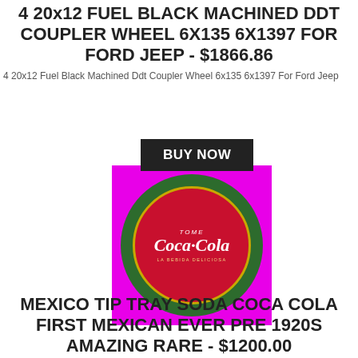4 20x12 FUEL BLACK MACHINED DDT COUPLER WHEEL 6X135 6X1397 FOR FORD JEEP - $1866.86
4 20x12 Fuel Black Machined Ddt Coupler Wheel 6x135 6x1397 For Ford Jeep
[Figure (photo): A circular green-rimmed Coca-Cola tip tray on a magenta/pink background. The tray features the Coca-Cola logo with text 'TOME Coca-Cola LA BEBIDA DELICIOSA' in white and gold on a red background.]
MEXICO TIP TRAY SODA COCA COLA FIRST MEXICAN EVER PRE 1920S AMAZING RARE - $1200.00